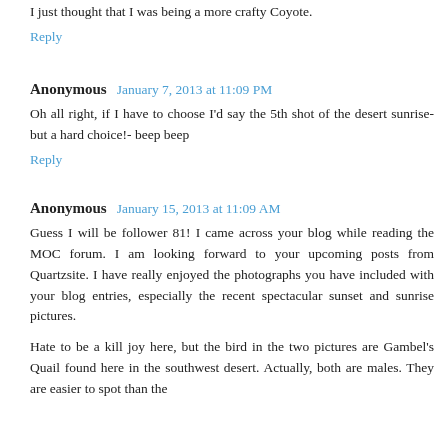I just thought that I was being a more crafty Coyote.
Reply
Anonymous  January 7, 2013 at 11:09 PM
Oh all right, if I have to choose I'd say the 5th shot of the desert sunrise- but a hard choice!- beep beep
Reply
Anonymous  January 15, 2013 at 11:09 AM
Guess I will be follower 81! I came across your blog while reading the MOC forum. I am looking forward to your upcoming posts from Quartzsite. I have really enjoyed the photographs you have included with your blog entries, especially the recent spectacular sunset and sunrise pictures.
Hate to be a kill joy here, but the bird in the two pictures are Gambel's Quail found here in the southwest desert. Actually, both are males. They are easier to spot than the